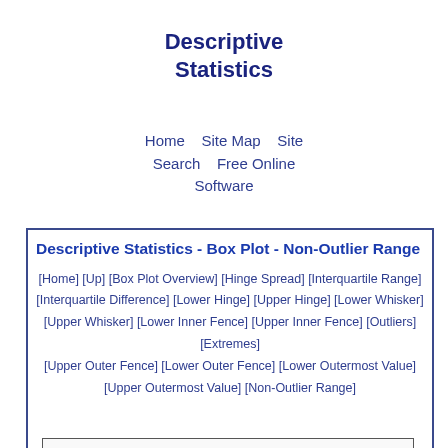Descriptive Statistics
Home    Site Map    Site Search    Free Online Software
Descriptive Statistics - Box Plot - Non-Outlier Range
[Home] [Up] [Box Plot Overview] [Hinge Spread] [Interquartile Range] [Interquartile Difference] [Lower Hinge] [Upper Hinge] [Lower Whisker] [Upper Whisker] [Lower Inner Fence] [Upper Inner Fence] [Outliers] [Extremes] [Upper Outer Fence] [Lower Outer Fence] [Lower Outermost Value] [Upper Outermost Value] [Non-Outlier Range]